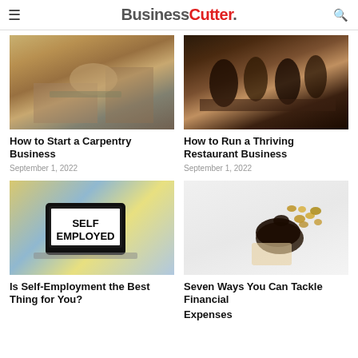BusinessCutter.
[Figure (photo): Person in plaid shirt and mask working on laptop in carpentry workshop]
[Figure (photo): Group of people sitting at bar/restaurant in warm lighting]
How to Start a Carpentry Business
How to Run a Thriving Restaurant Business
September 1, 2022
September 1, 2022
[Figure (photo): Laptop screen showing SELF EMPLOYED text with colorful desk items around it]
[Figure (photo): Hand holding piggy bank with coins scattered around on white background]
Is Self-Employment the Best Thing for You?
Seven Ways You Can Tackle Financial Expenses